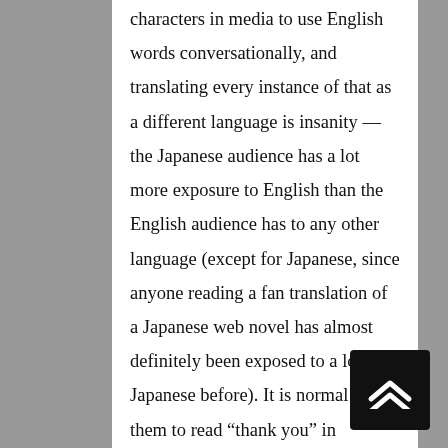characters in media to use English words conversationally, and translating every instance of that as a different language is insanity — the Japanese audience has a lot more exposure to English than the English audience has to any other language (except for Japanese, since anyone reading a fan translation of a Japanese web novel has almost definitely been exposed to a lot of Japanese before). It is normal for them to read “thank you” in English, because they have mandatory English classes and are exposed to